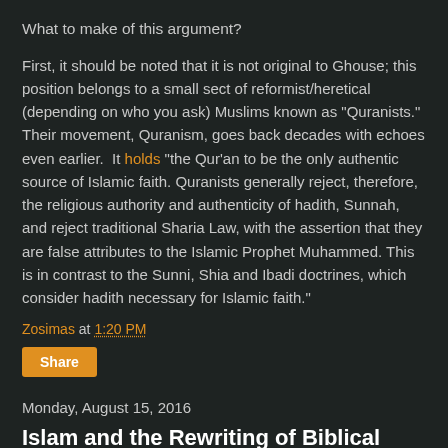What to make of this argument?
First, it should be noted that it is not original to Ghouse; this position belongs to a small sect of reformist/heretical (depending on who you ask) Muslims known as "Quranists." Their movement, Quranism, goes back decades with echoes even earlier.  It holds "the Qur'an to be the only authentic source of Islamic faith. Quranists generally reject, therefore, the religious authority and authenticity of hadith, Sunnah, and reject traditional Sharia Law, with the assertion that they are false attributes to the Islamic Prophet Muhammed. This is in contrast to the Sunni, Shia and Ibadi doctrines, which consider hadith necessary for Islamic faith."
Zosimas at 1:20 PM
Share
Monday, August 15, 2016
Islam and the Rewriting of Biblical History